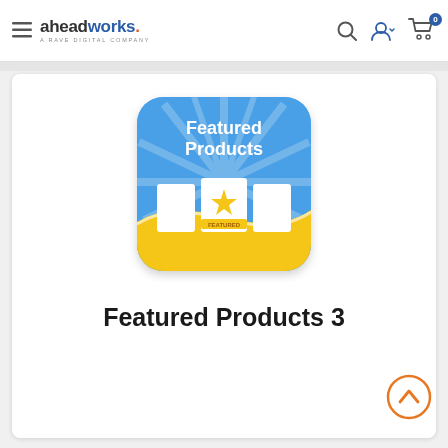aheadworks. A RAVE DIGITAL COMPANY
[Figure (illustration): Featured Products plugin icon: rounded square with blue top section showing text 'Featured Products', white rays, three white product card panels with a yellow star and a 'FEATURED' ribbon, and a yellow bottom wave section.]
Featured Products 3